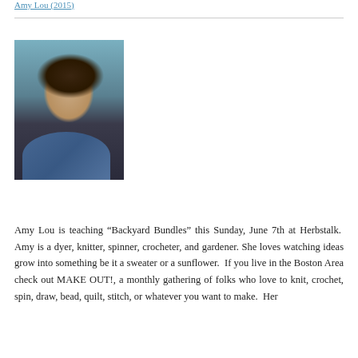Amy Lou (2015)
[Figure (photo): Portrait photo of Amy Lou, a woman with curly brown hair wearing a blue scarf and dark jacket, smiling outdoors.]
Amy Lou is teaching “Backyard Bundles” this Sunday, June 7th at Herbstalk.  Amy is a dyer, knitter, spinner, crocheter, and gardener. She loves watching ideas grow into something be it a sweater or a sunflower.  If you live in the Boston Area check out MAKE OUT!, a monthly gathering of folks who love to knit, crochet, spin, draw, bead, quilt, stitch, or whatever you want to make.  Her